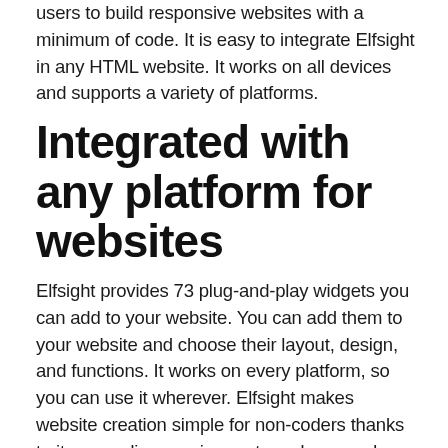users to build responsive websites with a minimum of code. It is easy to integrate Elfsight in any HTML website. It works on all devices and supports a variety of platforms.
Integrated with any platform for websites
Elfsight provides 73 plug-and-play widgets you can add to your website. You can add them to your website and choose their layout, design, and functions. It works on every platform, so you can use it wherever. Elfsight makes website creation simple for non-coders thanks to its no-coding requirements and pre-made widgets.